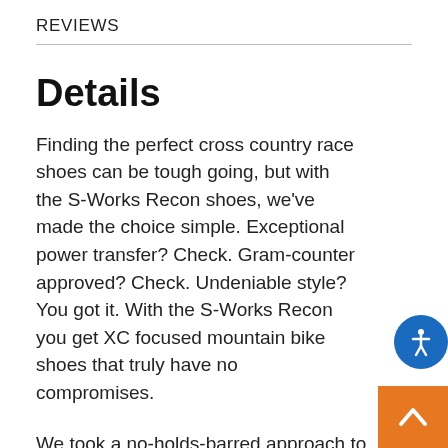REVIEWS
Details
Finding the perfect cross country race shoes can be tough going, but with the S-Works Recon shoes, we've made the choice simple. Exceptional power transfer? Check. Gram-counter approved? Check. Undeniable style? You got it. With the S-Works Recon you get XC focused mountain bike shoes that truly have no compromises.
We took a no-holds-barred approach to transferring every bit of your power to the pedals. The sole utilizes a rubber toe and heel for superior off-the-bike traction, while the pontoons are made of a harder TPU to provide excellent stability and power transfer to the pedal. A completely refined Padlock Heel, meanwhile,